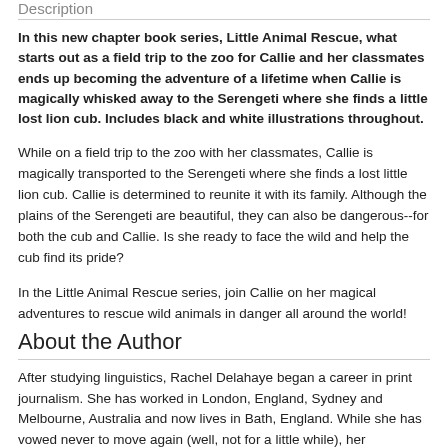Description
In this new chapter book series, Little Animal Rescue, what starts out as a field trip to the zoo for Callie and her classmates ends up becoming the adventure of a lifetime when Callie is magically whisked away to the Serengeti where she finds a little lost lion cub. Includes black and white illustrations throughout.
While on a field trip to the zoo with her classmates, Callie is magically transported to the Serengeti where she finds a lost little lion cub. Callie is determined to reunite it with its family. Although the plains of the Serengeti are beautiful, they can also be dangerous--for both the cub and Callie. Is she ready to face the wild and help the cub find its pride?
In the Little Animal Rescue series, join Callie on her magical adventures to rescue wild animals in danger all around the world!
About the Author
After studying linguistics, Rachel Delahaye began a career in print journalism. She has worked in London, England, Sydney and Melbourne, Australia and now lives in Bath, England. While she has vowed never to move again (well, not for a little while), her imagination has refused to settle down, and she is now writing children’s fiction. Rachel is married with two children and a dog named Rocket.